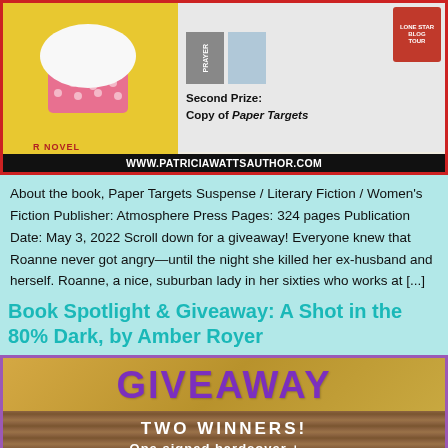[Figure (illustration): Book promotional banner with yellow book cover showing a pink cupcake on left, text 'Second Prize: Copy of Paper Targets' on right with book covers, and website www.patriciawattsauthor.com at bottom on dark bar]
About the book, Paper Targets Suspense / Literary Fiction / Women's Fiction Publisher: Atmosphere Press Pages: 324 pages Publication Date: May 3, 2022 Scroll down for a giveaway! Everyone knew that Roanne never got angry—until the night she killed her ex-husband and herself. Roanne, a nice, suburban lady in her sixties who works at [...]
Book Spotlight & Giveaway: A Shot in the 80% Dark, by Amber Royer
[Figure (illustration): Giveaway banner with purple border, gold/tan background showing 'GIVEAWAY' in large purple letters, then 'TWO WINNERS!' in white on wood-texture background, with partial text below]